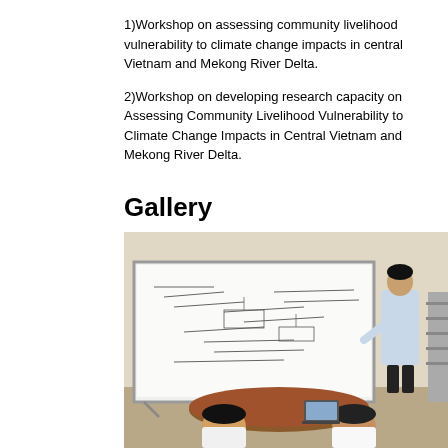1)Workshop on assessing community livelihood vulnerability to climate change impacts in central Vietnam and Mekong River Delta.
2)Workshop on developing research capacity on Assessing Community Livelihood Vulnerability to Climate Change Impacts in Central Vietnam and Mekong River Delta.
Gallery
[Figure (photo): A presenter standing next to a whiteboard covered in written notes and diagrams, pointing at it. Two audience members are seated with their backs to the camera, one with a laptop open. The setting appears to be a workshop or training room.]